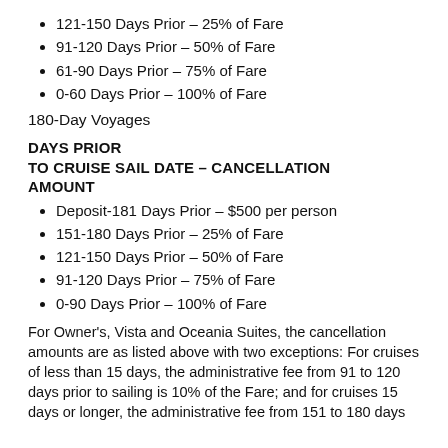121-150 Days Prior – 25% of Fare
91-120 Days Prior – 50% of Fare
61-90 Days Prior – 75% of Fare
0-60 Days Prior – 100% of Fare
180-Day Voyages
DAYS PRIOR
TO CRUISE SAIL DATE – CANCELLATION AMOUNT
Deposit-181 Days Prior – $500 per person
151-180 Days Prior – 25% of Fare
121-150 Days Prior – 50% of Fare
91-120 Days Prior – 75% of Fare
0-90 Days Prior – 100% of Fare
For Owner's, Vista and Oceania Suites, the cancellation amounts are as listed above with two exceptions: For cruises of less than 15 days, the administrative fee from 91 to 120 days prior to sailing is 10% of the Fare; and for cruises 15 days or longer, the administrative fee from 151 to 180 days